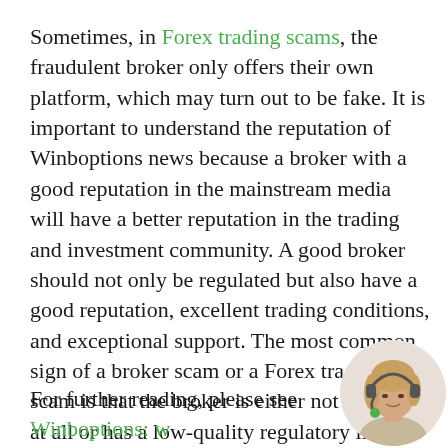Sometimes, in Forex trading scams, the fraudulent broker only offers their own platform, which may turn out to be fake. It is important to understand the reputation of Winboptions news because a broker with a good reputation in the mainstream media will have a better reputation in the trading and investment community. A good broker should not only be regulated but also have a good reputation, excellent trading conditions, and exceptional support. The most common sign of a broker scam or a Forex trading scam is that the broker is either not regulated at all or has a low-quality regulatory license.
For further reading, please see Winboptions: w...
[Figure (photo): Circular photo of a woman wearing a headset microphone, positioned in the bottom-right corner of the page.]